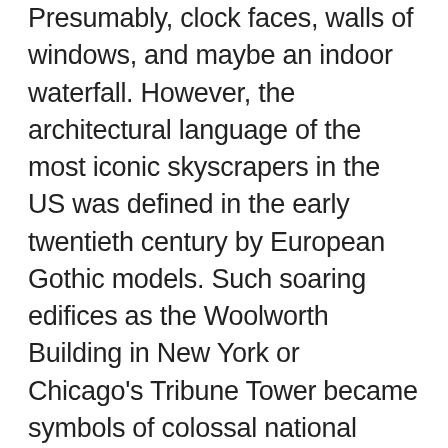Presumably, clock faces, walls of windows, and maybe an indoor waterfall. However, the architectural language of the most iconic skyscrapers in the US was defined in the early twentieth century by European Gothic models. Such soaring edifices as the Woolworth Building in New York or Chicago's Tribune Tower became symbols of colossal national growth and immense cultural shift. An exhibition at the Fralin Museum of Art — Skyscraper Gothic — celebrates the illustrious history of these beautiful buildings. Examining a vast array of documents and artifacts — from prints, drawings, and photographs to toys, models, and decorative arts — the exhibition examines how Gothic design informed material culture in the early 20th century. To see this